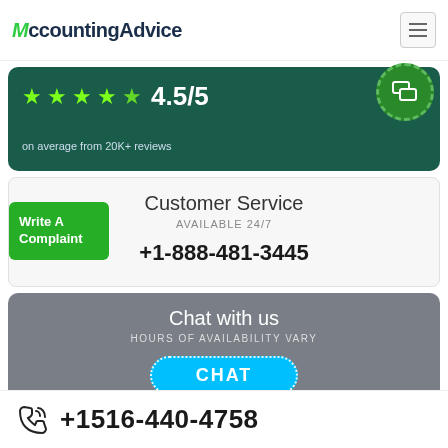AccountingAdvice
[Figure (infographic): Dark green rating banner showing 4.5/5 stars with text 'on average from 20K+ reviews' and a green chat bubble button in top right corner]
on average from 20K+ reviews
Customer Service
AVAILABLE 24/7
+1-888-481-3445
Write A Complaint
Chat with us
HOURS OF AVAILABILITY VARY
CHAT
+1516-440-4758